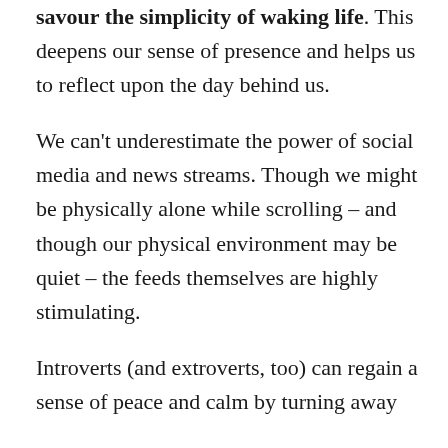savour the simplicity of waking life. This deepens our sense of presence and helps us to reflect upon the day behind us.
We can't underestimate the power of social media and news streams. Though we might be physically alone while scrolling – and though our physical environment may be quiet – the feeds themselves are highly stimulating.
Introverts (and extroverts, too) can regain a sense of peace and calm by turning away